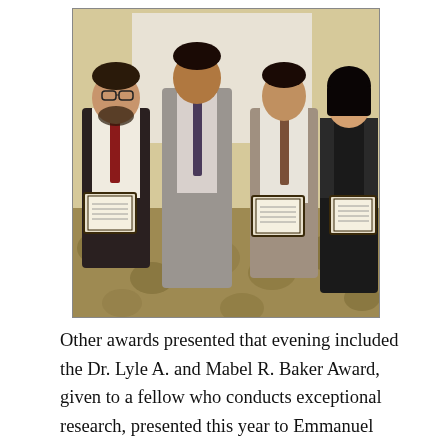[Figure (photo): Four people standing together in a hotel ballroom, three holding framed award certificates. From left: a man with a beard wearing a white shirt and red tie holding a certificate; a tall man in a grey suit in the center; a man in a white shirt and brown tie holding a certificate; and a woman in a black dress holding a certificate. Patterned carpet visible on the floor.]
Other awards presented that evening included the Dr. Lyle A. and Mabel R. Baker Award, given to a fellow who conducts exceptional research, presented this year to Emmanuel Akintoye, MB, BS. The Dr. George Irving Pesek Humanitarian Award was presented to Leah Engel, RN, MSN. And the Kanu A. Chatterjee Award for Clinical